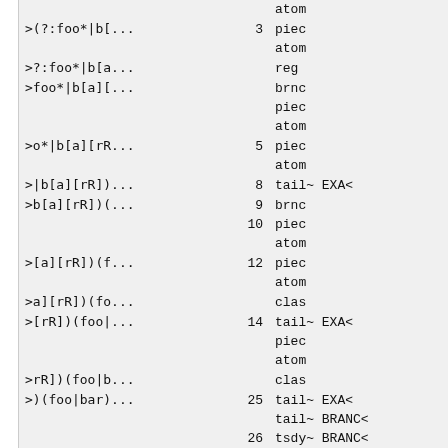| pattern | num | type |
| --- | --- | --- |
|  |  | atom |
| >(?: foo*|b[... | 3 | piec |
|  |  | atom |
| >?:foo*|b[a... |  | reg |
| >foo*|b[a][... |  | brnc |
|  |  | piec |
|  |  | atom |
| >o*|b[a][rR... | 5 | piec |
|  |  | atom |
| >|b[a][rR])... | 8 | tail~ EXAC |
| >b[a][rR])(...  | 9 | brnc |
|  | 10 | piec |
|  |  | atom |
| >[a][rR])(f... | 12 | piec |
|  |  | atom |
| >a][rR])(fo... |  | clas |
| >[rR])(foo|... | 14 | tail~ EXAC |
|  |  | piec |
|  |  | atom |
| >rR])(foo|b... |  | clas |
| >(foo|bar)... | 25 | tail~ EXAC |
|  |  | tail~ BRANCI |
|  | 26 | tsdy~ BRANCI |